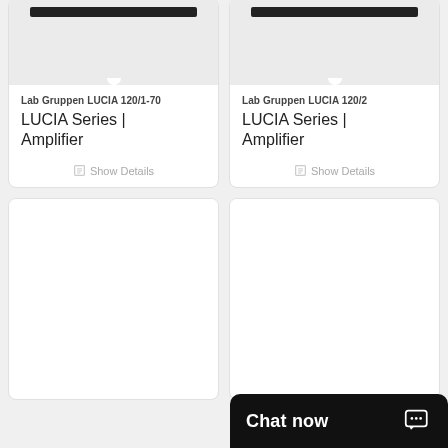[Figure (screenshot): Product card for Lab Gruppen LUCIA 120/1-70 amplifier with gray image area and show details link]
Lab Gruppen LUCIA 120/1-70
LUCIA Series | Amplifier
Show Details
[Figure (screenshot): Product card for Lab Gruppen LUCIA 120/2 amplifier with gray image area and show details link]
Lab Gruppen LUCIA 120/2
LUCIA Series | Amplifier
Show Details
[Figure (screenshot): Partial product card bottom row left, white background, partially visible]
[Figure (screenshot): Partial product card bottom row right, white background, partially visible]
Chat now